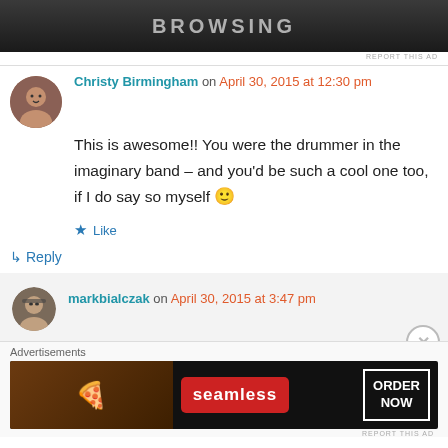[Figure (screenshot): Top advertisement banner with 'BROWSING' text on dark background]
REPORT THIS AD
Christy Birmingham on April 30, 2015 at 12:30 pm
This is awesome!! You were the drummer in the imaginary band – and you'd be such a cool one too, if I do say so myself 🙂
Like
↳ Reply
markbialczak on April 30, 2015 at 3:47 pm
Advertisements
[Figure (screenshot): Seamless food delivery advertisement banner showing pizza with ORDER NOW button]